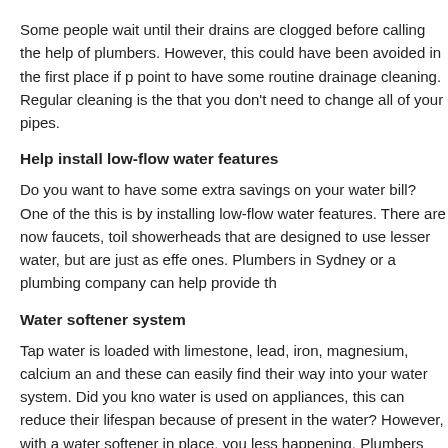Some people wait until their drains are clogged before calling the help of plumbers. However, this could have been avoided in the first place if p... point to have some routine drainage cleaning. Regular cleaning is the... that you don't need to change all of your pipes.
Help install low-flow water features
Do you want to have some extra savings on your water bill? One of the... this is by installing low-flow water features. There are now faucets, toil... showerheads that are designed to use lesser water, but are just as effe... ones. Plumbers in Sydney or a plumbing company can help provide th...
Water softener system
Tap water is loaded with limestone, lead, iron, magnesium, calcium an... and these can easily find their way into your water system. Did you kno... water is used on appliances, this can reduce their lifespan because of ... present in the water? However, with a water softener in place, you less... happening. Plumbers can help install this one for you.